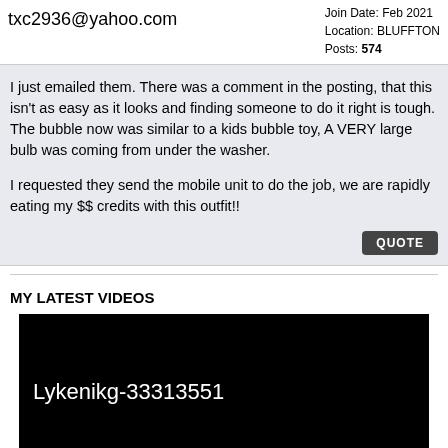txc2936@yahoo.com
Join Date: Feb 2021
Location: BLUFFTON
Posts: 574
I just emailed them. There was a comment in the posting, that this isn't as easy as it looks and finding someone to do it right is tough. The bubble now was similar to a kids bubble toy, A VERY large bulb was coming from under the washer.

I requested they send the mobile unit to do the job, we are rapidly eating my $$ credits with this outfit!!
QUOTE
MY LATEST VIDEOS
[Figure (screenshot): Video player showing black screen with title 'Lykenikg-33313551' and play button controls at bottom]